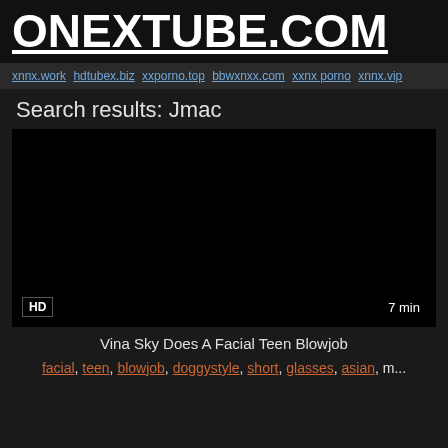ONEXTUBE.COM
xnnx.work hdtubex.biz xxporno.top bbwxnxx.com xxnx porno xnnx.vip
Search results: Jmac
[Figure (screenshot): Dark video thumbnail placeholder with HD badge and 7 min duration label]
Vina Sky Does A Facial Teen Blowjob
facial, teen, blowjob, doggystyle, short, glasses, asian, m...